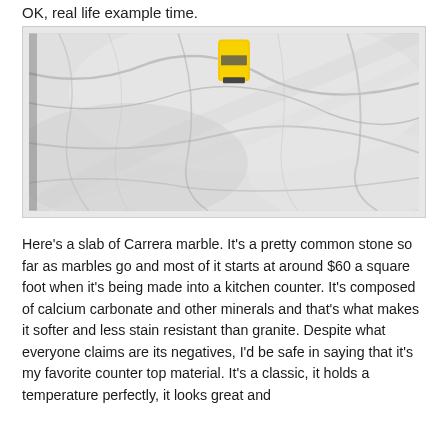OK, real life example time.
[Figure (photo): A slab of Carrera marble, light grey/white with darker grey veining throughout. A yellow tape measure sits near the top center of the slab.]
Here's a slab of Carrera marble. It's a pretty common stone so far as marbles go and most of it starts at around $60 a square foot when it's being made into a kitchen counter. It's composed of calcium carbonate and other minerals and that's what makes it softer and less stain resistant than granite. Despite what everyone claims are its negatives, I'd be safe in saying that it's my favorite counter top material. It's a classic, it holds a temperature perfectly, it looks great and